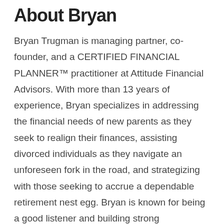About Bryan
Bryan Trugman is managing partner, co-founder, and a CERTIFIED FINANCIAL PLANNER™ practitioner at Attitude Financial Advisors. With more than 13 years of experience, Bryan specializes in addressing the financial needs of new parents as they seek to realign their finances, assisting divorced individuals as they navigate an unforeseen fork in the road, and strategizing with those seeking to accrue a dependable retirement nest egg. Bryan is known for being a good listener and building strong relationships with his clients so he can help them develop a customized financial plan based on what's important to